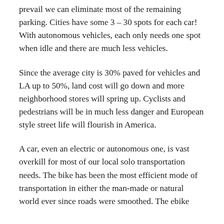prevail we can eliminate most of the remaining parking. Cities have some 3 – 30 spots for each car! With autonomous vehicles, each only needs one spot when idle and there are much less vehicles.
Since the average city is 30% paved for vehicles and LA up to 50%, land cost will go down and more neighborhood stores will spring up. Cyclists and pedestrians will be in much less danger and European style street life will flourish in America.
A car, even an electric or autonomous one, is vast overkill for most of our local solo transportation needs. The bike has been the most efficient mode of transportation in either the man-made or natural world ever since roads were smoothed. The ebike